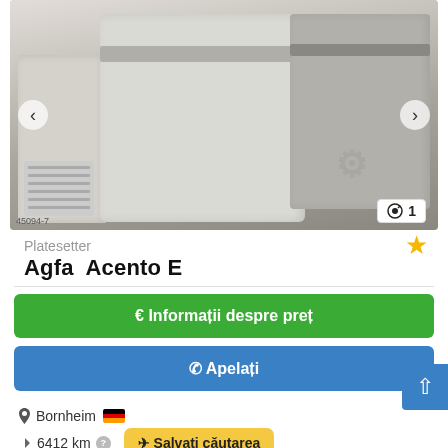[Figure (photo): Photo of an Agfa Acento E platesetter machine, showing large white/gray industrial printing equipment in a room. Navigation arrows visible on left and right. Photo count badge shows '1'. Watermark logo visible. Image ID: 45094-7]
Platesetter
Agfa  Acento E
€ Informații despre preț
✆ Apelați
Bornheim 🇩🇪
6412 km ❓   Salvați căutarea
folosit